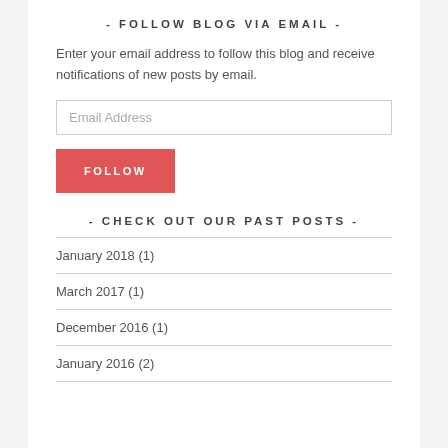- FOLLOW BLOG VIA EMAIL -
Enter your email address to follow this blog and receive notifications of new posts by email.
- CHECK OUT OUR PAST POSTS -
January 2018 (1)
March 2017 (1)
December 2016 (1)
January 2016 (2)